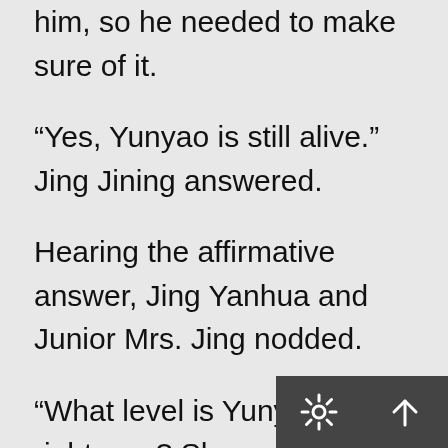purposely said that to Jing Yaorong to annoy him, so he needed to make sure of it.
“Yes, Yunyao is still alive.” Jing Jining answered.
Hearing the affirmative answer, Jing Yanhua and Junior Mrs. Jing nodded.
“What level is Yunyao at right now? She could easily injure Jing Yunfei!” Jing Yanhua asked curiously.
Jing Jining understood that his parents always listened to Jing Yaorong during these years,